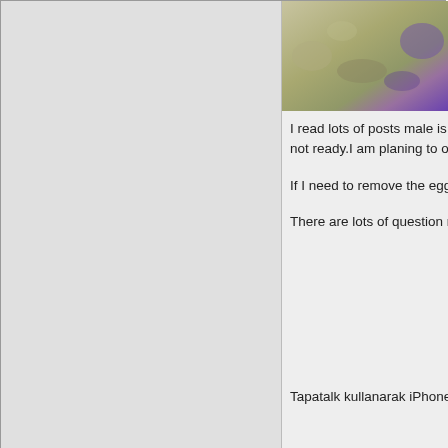[Figure (photo): Partial forum post image showing natural scene with rocks, sand, and purple minerals]
I read lots of posts male is not experienced enough ca... not ready.I am planing to observe and if I see egg cou...
If I need to remove the egg ball I am not sure if I need...
There are lots of question marks about how to handle...
Tapatalk kullanarak iPhone aracılığıyla gönderildi
02/23/2020, 03:07 AM  #2
ThRoewer
Registered Member
When I was trying to raise fridmanis in the 90s I used a separating funnel as a tumbler. Though I cut the top off slightly